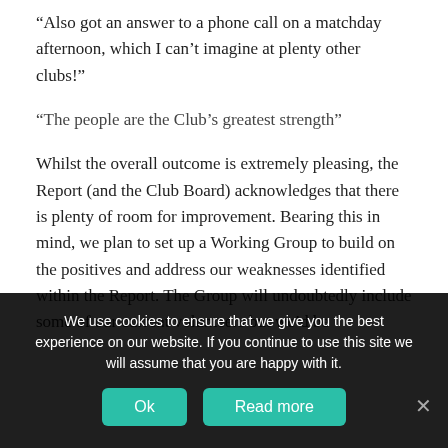“Also got an answer to a phone call on a matchday afternoon, which I can’t imagine at plenty other clubs!”
“The people are the Club’s greatest strength”
Whilst the overall outcome is extremely pleasing, the Report (and the Club Board) acknowledges that there is plenty of room for improvement. Bearing this in mind, we plan to set up a Working Group to build on the positives and address our weaknesses identified within the Report. The Group will undoubtedly include some of our current volunteers but we’d be
We use cookies to ensure that we give you the best experience on our website. If you continue to use this site we will assume that you are happy with it.